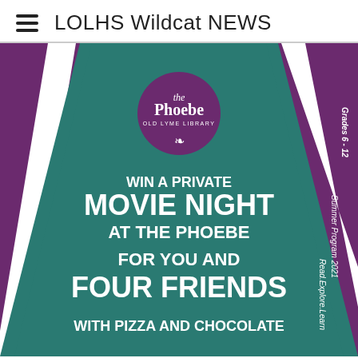LOLHS Wildcat NEWS
[Figure (illustration): Promotional poster for The Phoebe Old Lyme Library summer program 2021 (Grades 6-12). Features purple theater curtains with white rays on a teal background. Circular purple logo at top reads 'the Phoebe OLD LYME LIBRARY' with a griffin symbol. Text reads: WIN A PRIVATE MOVIE NIGHT AT THE PHOEBE FOR YOU AND FOUR FRIENDS WITH PIZZA AND CHOCOLATE. Side text: Summer Program 2021, Read.Explore.Learn, Grades 6-12.]